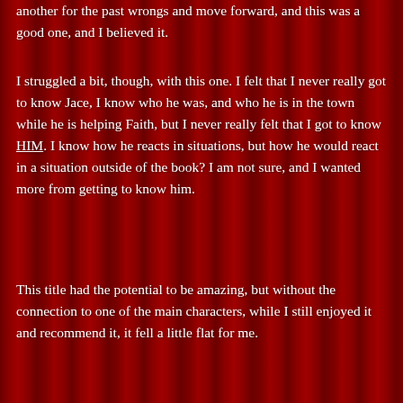another for the past wrongs and move forward, and this was a good one, and I believed it.
I struggled a bit, though, with this one. I felt that I never really got to know Jace, I know who he was, and who he is in the town while he is helping Faith, but I never really felt that I got to know HIM. I know how he reacts in situations, but how he would react in a situation outside of the book? I am not sure, and I wanted more from getting to know him.
This title had the potential to be amazing, but without the connection to one of the main characters, while I still enjoyed it and recommend it, it fell a little flat for me.
I did enjoy this overall, I recommend it, and I am looking forward to the next title by this author.
[Figure (photo): Black and white photograph of an open book with pages folded into a heart shape, next to a lit candle, on a dark background.]